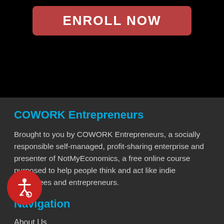[Figure (other): Black banner area with a red rounded button labeled ENROLL NOW in white bold uppercase text]
COWORK Entrepreneurs
Brought to you by COWORK Entrepreneurs, a socially responsible self-managed, profit-sharing enterprise and presenter of NotMyEconomics, a free online course purposed to help people think and act like indie employees and entrepreneurs.
Navigation
About Us
Courses
Connect
COWORK